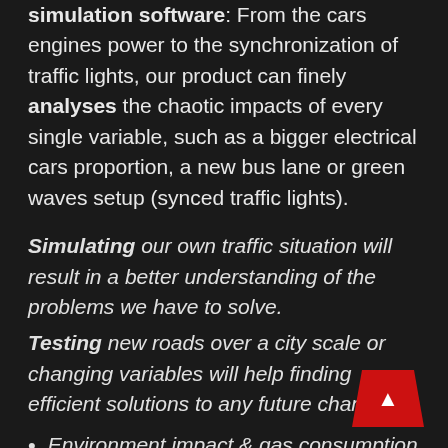simulation software: From the cars engines power to the synchronization of traffic lights, our product can finely analyses the chaotic impacts of every single variable, such as a bigger electrical cars proportion, a new bus lane or green waves setup (synced traffic lights).
Simulating our own traffic situation will result in a better understanding of the problems we have to solve.
Testing new roads over a city scale or changing variables will help finding efficient solutions to any future change:
Environment impact & gas consumption
Road works efficiency
Public transport optimisation & traffic